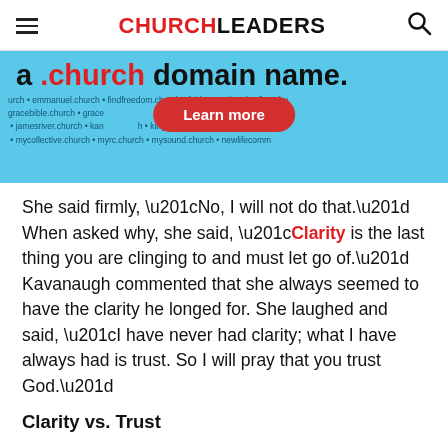CHURCHLEADERS
[Figure (screenshot): Advertisement banner for .church domain names with blue background, showing text 'a .church domain name.' and a 'Learn more' button, with example church domain names listed]
She said firmly, “No, I will not do that.” When asked why, she said, “Clarity is the last thing you are clinging to and must let go of.” Kavanaugh commented that she always seemed to have the clarity he longed for. She laughed and said, “I have never had clarity; what I have always had is trust. So I will pray that you trust God.”
Clarity vs. Trust
There is something in all of us that always wants clarity. It is part of our sinful ego and a common expression of our